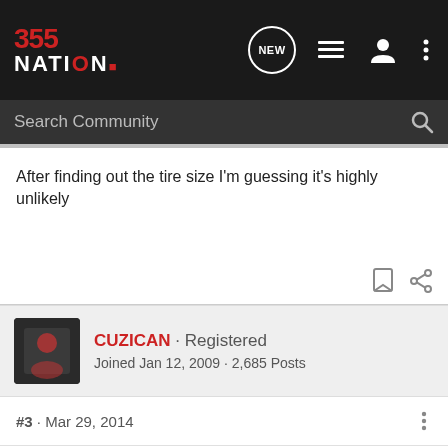355NATION · Search Community
After finding out the tire size I'm guessing it's highly unlikely
CUZICAN · Registered
Joined Jan 12, 2009 · 2,685 Posts
#3 · Mar 29, 2014
You'll most likely need a lift to clear the stock armada tires.